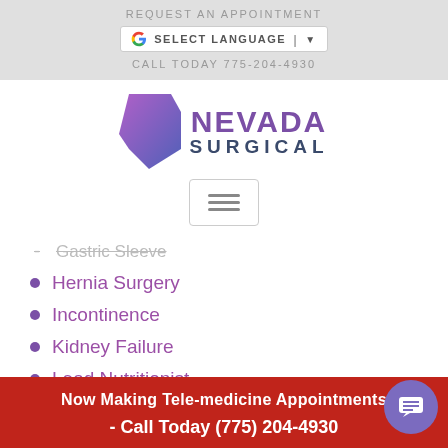REQUEST AN APPOINTMENT
SELECT LANGUAGE
CALL TODAY 775-204-4930
[Figure (logo): Nevada Surgical logo with purple Nevada state shape and text NEVADA SURGICAL]
[Figure (other): Hamburger/menu icon button with three horizontal lines]
Gastric Sleeve (strikethrough)
Hernia Surgery
Incontinence
Kidney Failure
Lead Nutritionist
Low BMI
Now Making Tele-medicine Appointments
- Call Today (775) 204-4930